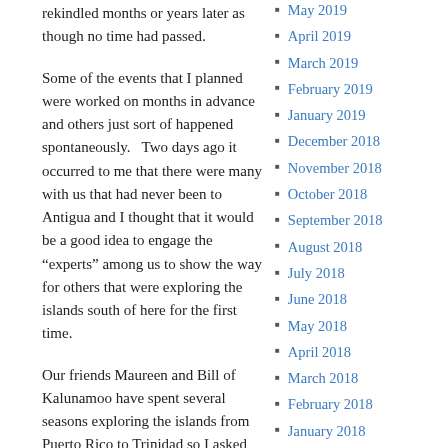rekindled months or years later as though no time had passed.
Some of the events that I planned were worked on months in advance and others just sort of happened spontaneously.   Two days ago it occurred to me that there were many with us that had never been to Antigua and I thought that it would be a good idea to engage the “experts” among us to show the way for others that were exploring the islands south of here for the first time.
Our friends Maureen and Bill of Kalunamoo have spent several seasons exploring the islands from Puerto Rico to Trinidad so I asked Bill to lead a discussion.  With only one day warning, Bill arranged a very informative talk and half the fleet showed up to hear what he had to say.
May 2019
April 2019
March 2019
February 2019
January 2019
December 2018
November 2018
October 2018
September 2018
August 2018
July 2018
June 2018
May 2018
April 2018
March 2018
February 2018
January 2018
December 2017